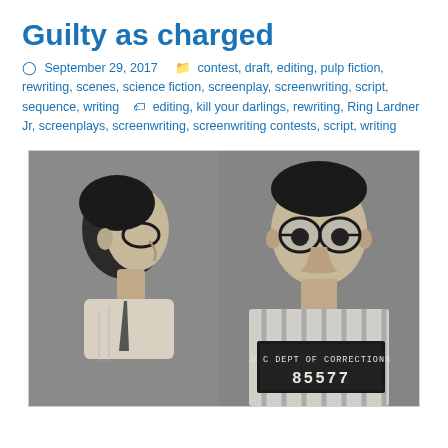Guilty as charged
September 29, 2017   contest, draft, editing, pulp fiction, rewriting, scenes, science fiction, screenplay, screenwriting, script, sequence, writing   editing, kill your darlings, rewriting, Ring Lardner Jr, screenplays, screenwriting, screenwriting contests, script, writing
[Figure (photo): Black and white mugshot-style photo showing a man from two angles: profile (left) and front-facing (right). The man wears thick-rimmed glasses. The front-facing shot shows a placard reading 'D C DEPT OF CORRECTIONS 85577'.]